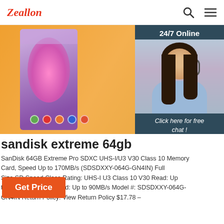Zeallon — navigation header with search and menu icons
[Figure (photo): Hero image showing a portable Bluetooth speaker in a colorful box with a teal cylindrical speaker in the background, on an orange surface. Overlaid panel with '24/7 Online' customer service agent photo, 'Click here for free chat!' text, and QUOTATION button.]
sandisk extreme 64gb
SanDisk 64GB Extreme Pro SDXC UHS-I/U3 V30 Class 10 Memory Card, Speed Up to 170MB/s (SDSDXXY-064G-GN4IN) Full Size SD Speed Class Rating: UHS-I U3 Class 10 V30 Read: Up to 170MB/s Write Speed: Up to 90MB/s Model #: SDSDXXY-064G-GN4IN Return Policy: View Return Policy $17.78 –
Get Price